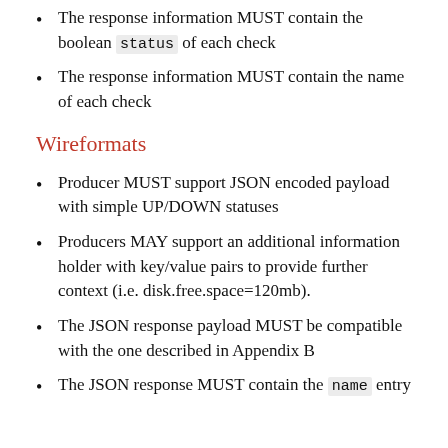The response information MUST contain the boolean status of each check
The response information MUST contain the name of each check
Wireformats
Producer MUST support JSON encoded payload with simple UP/DOWN statuses
Producers MAY support an additional information holder with key/value pairs to provide further context (i.e. disk.free.space=120mb).
The JSON response payload MUST be compatible with the one described in Appendix B
The JSON response MUST contain the name entry